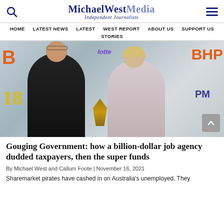MichaelWest Media — Independent Journalists
HOME  LATEST NEWS  LATEST  WEST REPORT  ABOUT US  SUPPORT US  STORIES
[Figure (photo): Two people, a man in a tuxedo and a woman in a floral dress, holding a crystal award together at what appears to be a gala event. Sponsor logos visible in background including BHP and others. Year '18 visible.]
Gouging Government: how a billion-dollar job agency dudded taxpayers, then the super funds
By Michael West and Callum Foote | November 16, 2021
Sharemarket pirates have cashed in on Australia's unemployed. They